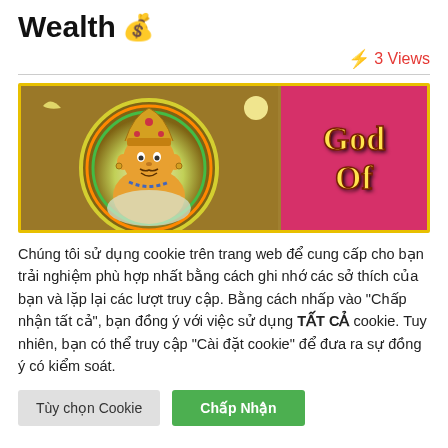Wealth 💰
⚡ 3 Views
[Figure (illustration): Decorative banner showing a Buddhist deity (God of Wealth) on a golden background with a crescent moon and a glowing halo on the left side, and the text 'God Of' in yellow on a pink/magenta background on the right side.]
Chúng tôi sử dụng cookie trên trang web để cung cấp cho bạn trải nghiệm phù hợp nhất bằng cách ghi nhớ các sở thích của bạn và lặp lại các lượt truy cập. Bằng cách nhấp vào "Chấp nhận tất cả", bạn đồng ý với việc sử dụng TẤT CẢ cookie. Tuy nhiên, bạn có thể truy cập "Cài đặt cookie" để đưa ra sự đồng ý có kiểm soát.
Tùy chọn Cookie | Chấp Nhận